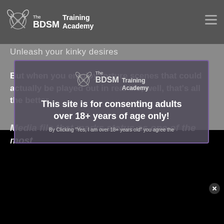The BDSM Training Academy
Unleash your kinky desires
But when you employ torture scenes that could actually be played out in real life, well, that's all the better.
[Figure (screenshot): Age verification modal overlay with BDSM Training Academy logo, text reading 'This site is for consenting adults over 18+ years of age only!' and subtext 'By Clicking "Yes, I am over 18+ years old" you agree the']
Media file that marks status as one of the most